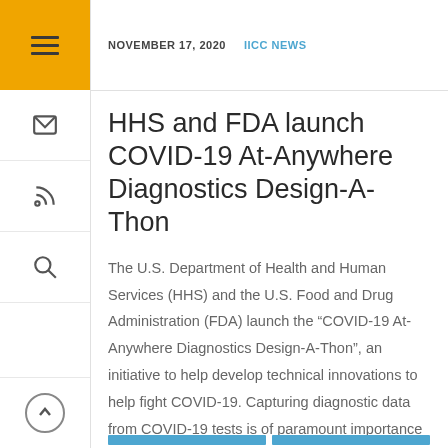NOVEMBER 17, 2020   IICC NEWS
HHS and FDA launch COVID-19 At-Anywhere Diagnostics Design-A-Thon
The U.S. Department of Health and Human Services (HHS) and the U.S. Food and Drug Administration (FDA) launch the “COVID-19 At-Anywhere Diagnostics Design-A-Thon”, an initiative to help develop technical innovations to help fight COVID-19. Capturing diagnostic data from COVID-19 tests is of paramount importance to guide an evidence-based pandemic response at the local, state, and...